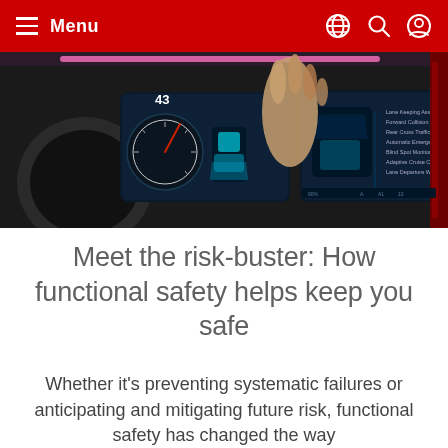Menu
[Figure (photo): Interior view of a modern car dashboard with digital instrument cluster showing speedometer and ADAS features. A hand is reaching toward the screen. The display shows lane-keeping, collision warning, and other safety features on a dark blue background with red ambient lighting.]
Meet the risk-buster: How functional safety helps keep you safe
Whether it's preventing systematic failures or anticipating and mitigating future risk, functional safety has changed the way